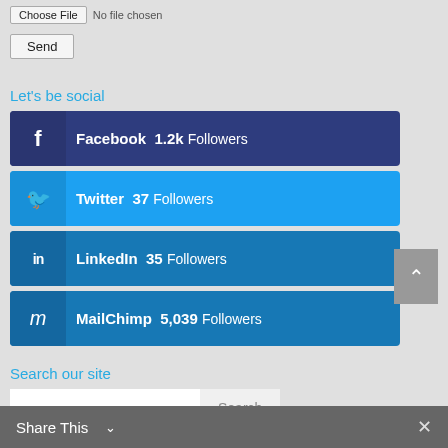[Figure (screenshot): File input showing 'Choose File' button and 'No file chosen' text]
[Figure (screenshot): Send button (form submit)]
Let's be social
[Figure (infographic): Social media follow bars: Facebook 1.2k Followers, Twitter 37 Followers, LinkedIn 35 Followers, MailChimp 5,039 Followers]
Search our site
[Figure (screenshot): Search input field and Search button]
Share This ∨  ✕